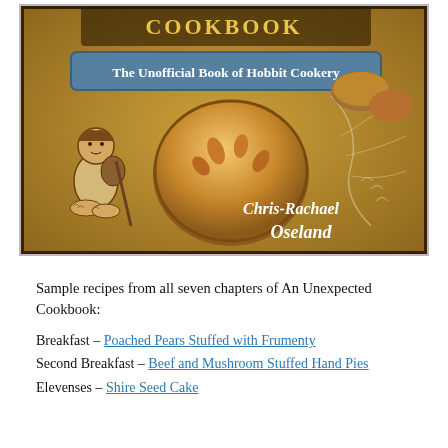[Figure (illustration): Book cover of 'An Unexpected Cookbook: The Unofficial Book of Hobbit Cookery' by Chris-Rachael Oseland. Features a hobbit illustration on the left, a large decorated pie in the center, food items around the edges, and decorative tree branch designs. Blue banner reads 'The Unofficial Book of Hobbit Cookery'.]
Sample recipes from all seven chapters of An Unexpected Cookbook:
Breakfast – Poached Pears Stuffed with Frumenty
Second Breakfast – Beef and Mushroom Stuffed Hand Pies
Elevenses – Shire Seed Cake